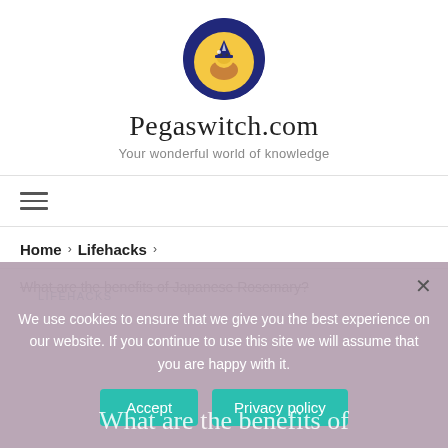[Figure (logo): Pegaswitch.com circular logo with dark navy blue border, yellow moon background, and cartoon unicorn/witch character inside]
Pegaswitch.com
Your wonderful world of knowledge
≡ (hamburger menu icon)
Home > Lifehacks >
What are the benefits of Japanese Rosemar...
LIFEHACKS
We use cookies to ensure that we give you the best experience on our website. If you continue to use this site we will assume that you are happy with it.
Accept  Privacy policy
What are the benefits of